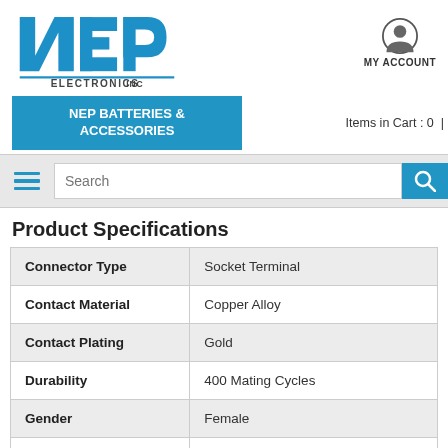[Figure (logo): NEP Electronics Inc logo with blue N, E, P letters and ELECTRONICS INC text]
[Figure (illustration): MY ACCOUNT user icon circle with person silhouette]
MY ACCOUNT
NEP BATTERIES & ACCESSORIES
Items in Cart : 0 |
[Figure (illustration): Hamburger menu icon (three horizontal blue lines)]
Search
Product Specifications
|  |  |
| --- | --- |
| Connector Type | Socket Terminal |
| Contact Material | Copper Alloy |
| Contact Plating | Gold |
| Durability | 400 Mating Cycles |
| Gender | Female |
| Inventory | 39 |